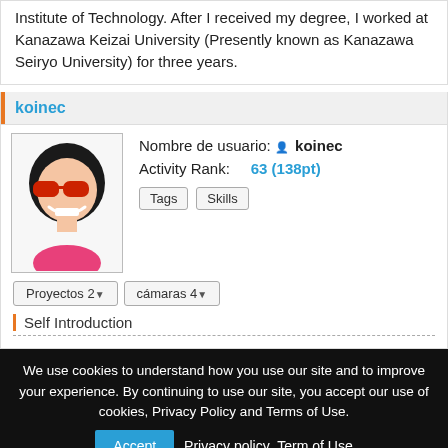Institute of Technology. After I received my degree, I worked at Kanazawa Keizai University (Presently known as Kanazawa Seiryo University) for three years.
koinec
[Figure (illustration): Avatar/profile image of user koinec - cartoon figure with black hair, red sunglasses, big smile, pink body]
Nombre de usuario: koinec
Activity Rank: 63 (138pt)
Tags  Skills
Proyectos 2▼  cámaras 4▼
Self Introduction
We use cookies to understand how you use our site and to improve your experience. By continuing to use our site, you accept our use of cookies, Privacy Policy and Terms of Use.
Accept  Privacy policy  Term of Use
[OSDN日本語]